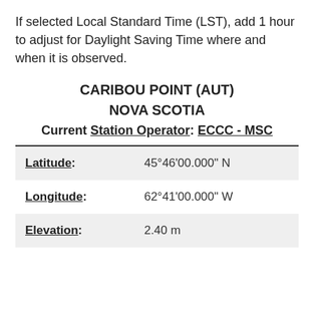If selected Local Standard Time (LST), add 1 hour to adjust for Daylight Saving Time where and when it is observed.
CARIBOU POINT (AUT)
NOVA SCOTIA
Current Station Operator: ECCC - MSC
| Latitude: | 45°46'00.000" N |
| Longitude: | 62°41'00.000" W |
| Elevation: | 2.40 m |